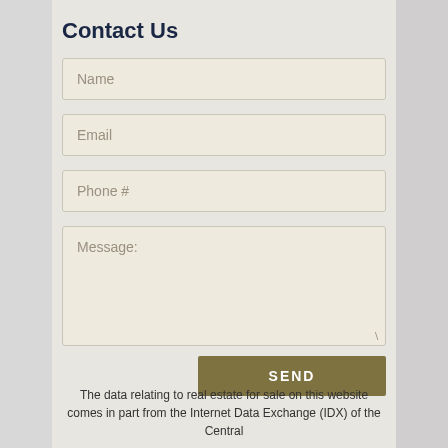Contact Us
[Figure (screenshot): Contact form with fields for Name, Email, Phone #, and Message, plus a SEND button]
The data relating to real estate for sale on this website comes in part from the Internet Data Exchange (IDX) of the Central